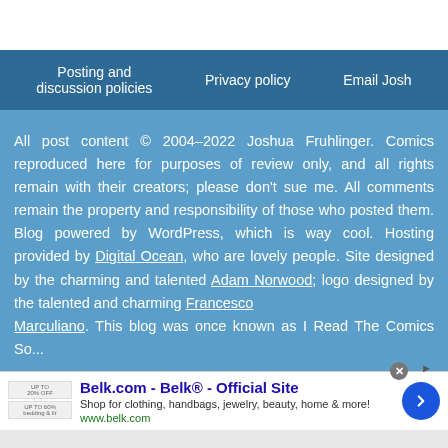Posting and discussion policies | Privacy policy | Email Josh
All post content © 2004–2022 Joshua Fruhlinger. Comics reproduced here for purposes of review only, and all rights remain with their creators; please don't sue me. All comments remain the property and responsibility of those who posted them. Blog powered by WordPress, which is way cool. Hosting provided by Digital Ocean, who are lovely people. Site designed by the charming and talented Adam Norwood; logo designed by the talented and charming Francesco Marculiano. This blog was once known as I Read The Comics So...
[Figure (screenshot): Advertisement for Belk.com - Belk Official Site. Shows small product thumbnail images on left, ad title 'Belk.com - Belk® - Official Site', description 'Shop for clothing, handbags, jewelry, beauty, home & more!', URL 'www.belk.com', and a blue circular arrow button on the right. Close X button and external link icon at top.]